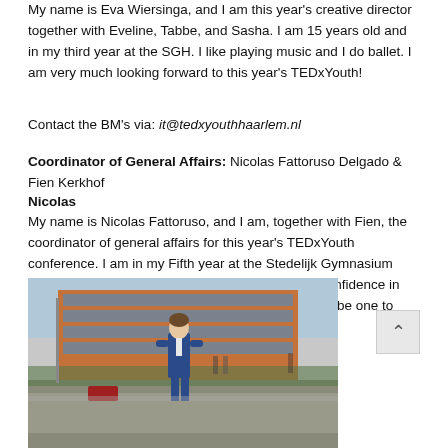My name is Eva Wiersinga, and I am this year's creative director together with Eveline, Tabbe, and Sasha. I am 15 years old and in my third year at the SGH. I like playing music and I do ballet. I am very much looking forward to this year's TEDxYouth!
Contact the BM's via: it@tedxyouthhaarlem.nl
Coordinator of General Affairs: Nicolas Fattoruso Delgado & Fien Kerkhof
Nicolas
My name is Nicolas Fattoruso, and I am, together with Fien, the coordinator of general affairs for this year's TEDxYouth conference. I am in my Fifth year at the Stedelijk Gymnasium Haarlem and play football at HFC. I have a lot of confidence in this year's team and know that this year's event will be one to remember for many years to come.
[Figure (photo): Young man in blue suit walking in front of a modern brick and glass school building, outdoors, overcast day]